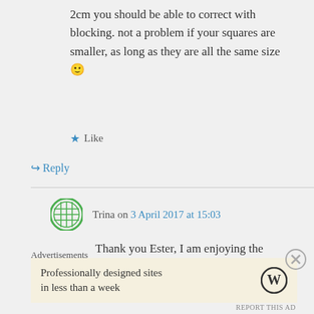2cm you should be able to correct with blocking. not a problem if your squares are smaller, as long as they are all the same size 🙂
★ Like
↳ Reply
Trina on 3 April 2017 at 15:03
Thank you Ester, I am enjoying the learning experience 🙂
Advertisements
Professionally designed sites in less than a week
REPORT THIS AD